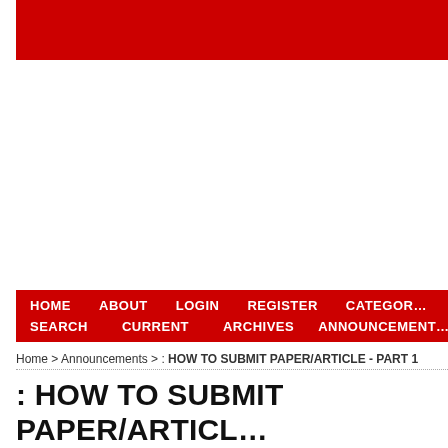[Figure (other): Red banner header image at top of page]
HOME  ABOUT  LOGIN  REGISTER  CATEGORIES
SEARCH  CURRENT  ARCHIVES  ANNOUNCEMENTS
Home > Announcements > : HOW TO SUBMIT PAPER/ARTICLE - PART 1
: HOW TO SUBMIT PAPER/ARTICLE - PART 1